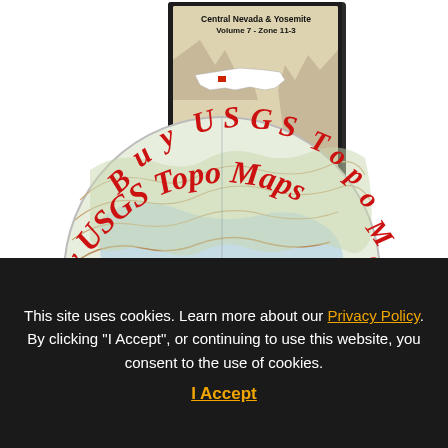[Figure (illustration): Product shot of a CD-ROM titled 'Central Nevada & Yosemite Volume 7 - Zone 11-3' USGS Topo Maps disc. Top portion shows a jewel case with a map cover featuring a US outline map with a highlighted region. Bottom portion shows the CD disc itself with topographic map imagery and text 'Buy USGS Topo Maps on' in red cursive lettering arching around the disc.]
This site uses cookies. Learn more about our Privacy Policy. By clicking "I Accept", or continuing to use this website, you consent to the use of cookies.
I Accept